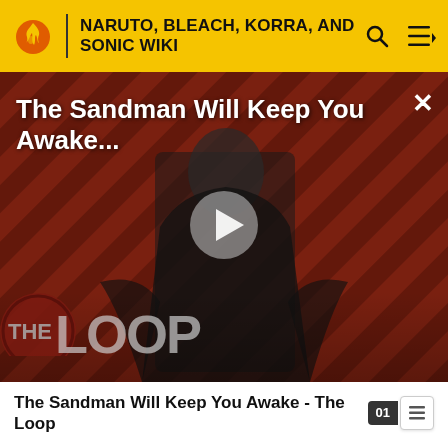NARUTO, BLEACH, KORRA, AND SONIC WIKI
[Figure (screenshot): Video thumbnail for 'The Sandman Will Keep You Awake...' showing a pale figure in black cape against diagonal red/dark striped background, with a large play button in center and 'THE LOOP' logo bottom-left]
The Sandman Will Keep You Awake - The Loop
other Arrancar alike. He effortlessly wields his large Zanpakuto with ease, taking advantage of its unique shape to maximize his attacks. He is highly capable of